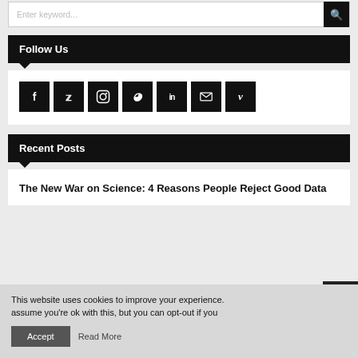[Figure (screenshot): Search input field with placeholder 'Enter keyword...' and black search icon button]
Follow Us
[Figure (infographic): Row of 7 social media icon buttons: Facebook, Twitter, Instagram, Pinterest, LinkedIn, Email, Vimeo — all black square icons with white symbols]
Recent Posts
The New War on Science: 4 Reasons People Reject Good Data
This website uses cookies to improve your experience. assume you're ok with this, but you can opt-out if you
Accept
Read More